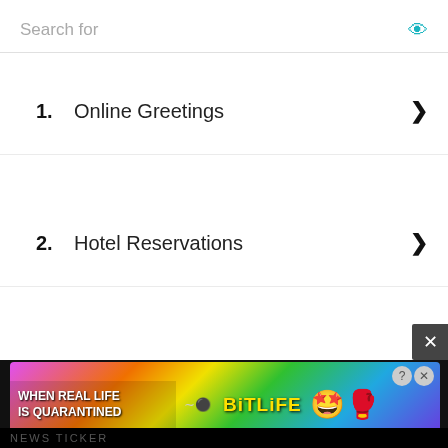Search for
1. Online Greetings
2. Hotel Reservations
3. Discount Shopping
EMAIL NEWSLETTER
email address
Subscribe
[Figure (infographic): BitLife advertisement banner with rainbow gradient background and text: WHEN REAL LIFE IS QUARANTINED, BitLife logo with emoji]